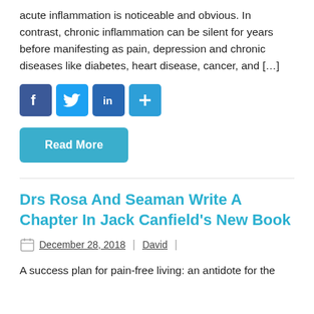acute inflammation is noticeable and obvious. In contrast, chronic inflammation can be silent for years before manifesting as pain, depression and chronic diseases like diabetes, heart disease, cancer, and […]
[Figure (infographic): Social sharing icons: Facebook (blue), Twitter (light blue), LinkedIn (dark blue), Share/plus (blue)]
Read More
Drs Rosa And Seaman Write A Chapter In Jack Canfield's New Book
December 28, 2018 | David |
A success plan for pain-free living: an antidote for the